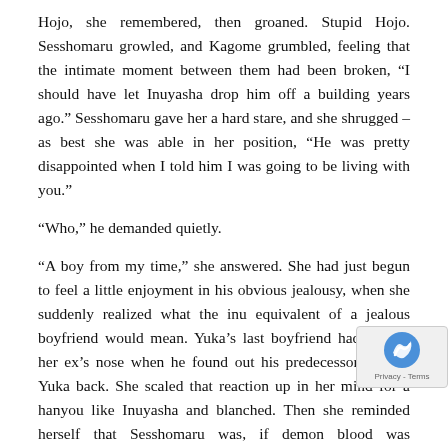Hojo, she remembered, then groaned. Stupid Hojo. Sesshomaru growled, and Kagome grumbled, feeling that the intimate moment between them had been broken, “I should have let Inuyasha drop him off a building years ago.” Sesshomaru gave her a hard stare, and she shrugged – as best she was able in her position, “He was pretty disappointed when I told him I was going to be living with you.”
“Who,” he demanded quietly.
“A boy from my time,” she answered. She had just begun to feel a little enjoyment in his obvious jealousy, when she suddenly realized what the inu equivalent of a jealous boyfriend would mean. Yuka’s last boyfriend had broken her ex’s nose when he found out his predecessor wanted Yuka back. She scaled that reaction up in her mind for a hanyou like Inuyasha and blanched. Then she reminded herself that Sesshomaru was, if demon blood was responsible, twice as possessive than his brother. Holy hell, thank the kami he can’t get through the well. Someone would get gutted. “He hasn’t ever tried to do more than hold my hand or kiss me,” she assured him, and q understood that admission was not helping. His hand tighten hers and he leaned closer until she could not focus on his ey